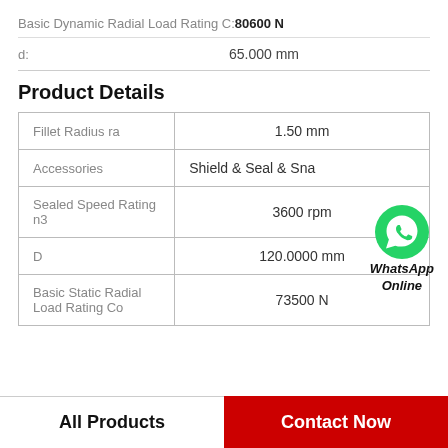Basic Dynamic Radial Load Rating C: 80600 N
d: 65.000 mm
Product Details
| Property | Value |
| --- | --- |
| Fillet Radius ra | 1.50 mm |
| Accessories | Shield & Seal & Sna... |
| Sealed Speed Rating n3 | 3600 rpm |
| D | 120.0000 mm |
| Basic Static Radial Load Rating Co | 73500 N |
[Figure (logo): WhatsApp green phone icon with text 'WhatsApp Online']
All Products
Contact Now